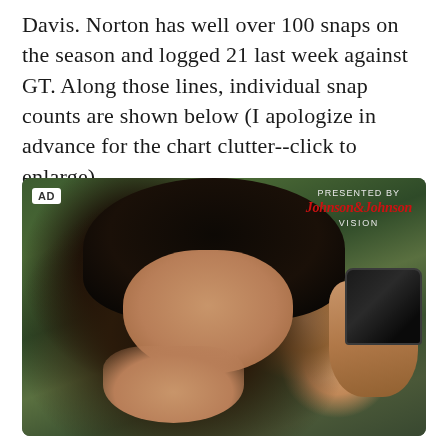Davis. Norton has well over 100 snaps on the season and logged 21 last week against GT. Along those lines, individual snap counts are shown below (I apologize in advance for the chart clutter--click to enlarge).
[Figure (photo): Advertisement photo showing a person with curly hair rubbing their eyes and holding glasses in their right hand. The ad is presented by Johnson & Johnson Vision. Background is blurred green foliage.]